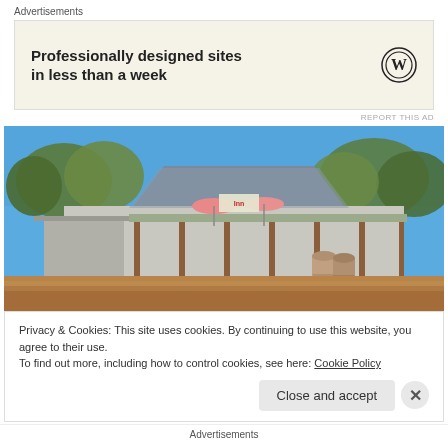Advertisements
[Figure (infographic): Advertisement banner with WordPress logo: 'Professionally designed sites in less than a week']
REPORT THIS AD
[Figure (photo): Photograph of a rural Australian pub/inn building with a corrugated iron roof, wooden veranda posts, pink umbrellas, barrel decorations, and eucalyptus trees in background under a blue sky, with a red dirt/gravel car park in foreground.]
Privacy & Cookies: This site uses cookies. By continuing to use this website, you agree to their use.
To find out more, including how to control cookies, see here: Cookie Policy
Close and accept
Advertisements